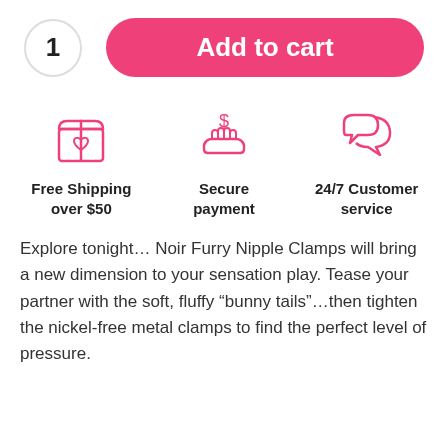[Figure (infographic): Quantity selector circle showing '1' and a pink 'Add to cart' rounded button]
[Figure (infographic): Three feature icons in pink: a gift box with heart (Free Shipping over $50), a hand with dollar sign (Secure payment), and two speech bubbles (24/7 Customer service)]
Explore tonight… Noir Furry Nipple Clamps will bring a new dimension to your sensation play. Tease your partner with the soft, fluffy “bunny tails”…then tighten the nickel-free metal clamps to find the perfect level of pressure.